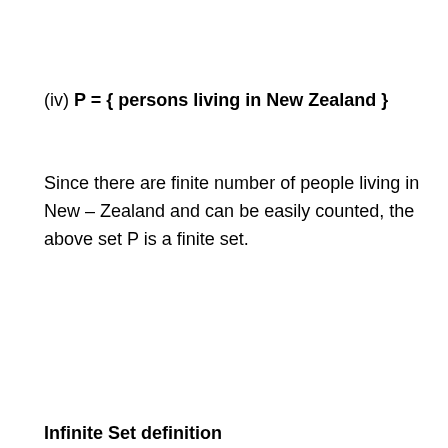(iv) P = { persons living in New Zealand }
Since there are finite number of people living in New – Zealand and can be easily counted, the above set P is a finite set.
Infinite Set definition